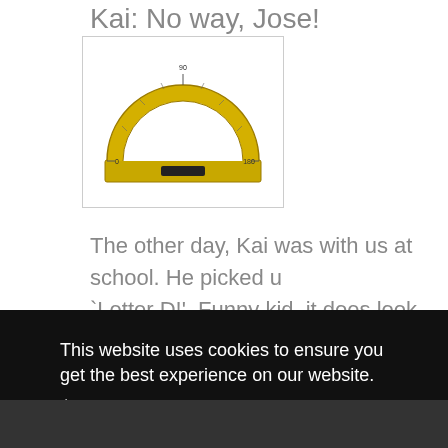Kai: No way, Jose!
[Figure (photo): A golden/yellow protractor (semicircular measuring tool) shown against a white background, inside a light grey bordered box.]
The other day, Kai was with us at school. He picked u `Letter D!'. Funny kid, it does look like a `D'.
This website uses cookies to ensure you get the best experience on our website.
Learn more
Got it!
[Figure (photo): Bottom edge of a photograph, showing a dark scene, partially visible at the very bottom of the page.]